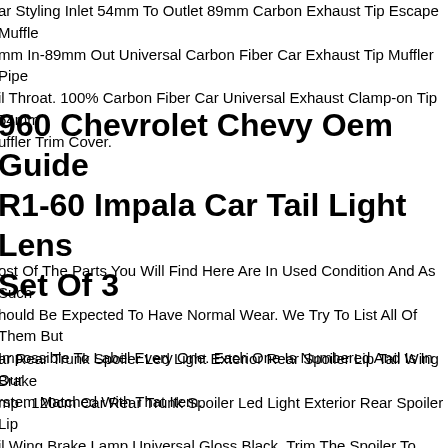ar Styling Inlet 54mm To Outlet 89mm Carbon Exhaust Tip Escape Muffle mm In-89mm Out Universal Carbon Fiber Car Exhaust Tip Muffler Pipe il Throat. 100% Carbon Fiber Car Universal Exhaust Clamp-on Tip 54mm uffler Trim Cover.
960 Chevrolet Chevy Oem Guide R1-60 Impala Car Tail Light Lens Set Of 3
ost Of The Parts You Will Find Here Are In Used Condition And As Such hould Be Expected To Have Normal Wear. We Try To List All Of Them But Impossible To Label Every One. Each One Is Numbered And Is In Our rstem Matched With That Item.
ar Rear Trunk Spoiler Led Light Exterior Rear Spoiler Lip Tail Wing Brake mp . 120cm Car Rear Trunk Spoiler Led Light Exterior Rear Spoiler Lip il Wing Brake Lamp Universal Gloss Black. Trim The Spoiler To Size. 1 X d Universal Spoiler. Clean The Surface Where You Plan On Mounting Th d Spoiler With Isopropyl Alchohol And A Clear Microfiber Cloth To Ensure rm And Lasting Fit.